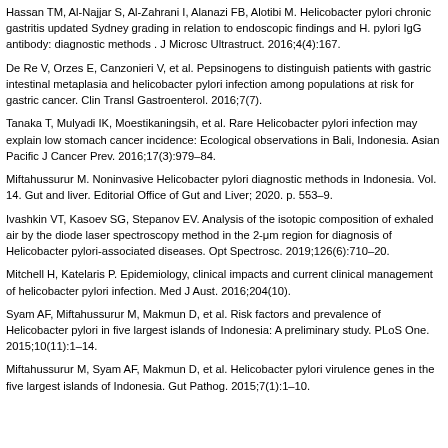Hassan TM, Al-Najjar S, Al-Zahrani I, Alanazi FB, Alotibi M. Helicobacter pylori chronic gastritis updated Sydney grading in relation to endoscopic findings and H. pylori IgG antibody: diagnostic methods . J Microsc Ultrastruct. 2016;4(4):167.
De Re V, Orzes E, Canzonieri V, et al. Pepsinogens to distinguish patients with gastric intestinal metaplasia and helicobacter pylori infection among populations at risk for gastric cancer. Clin Transl Gastroenterol. 2016;7(7).
Tanaka T, Mulyadi IK, Moestikaningsih, et al. Rare Helicobacter pylori infection may explain low stomach cancer incidence: Ecological observations in Bali, Indonesia. Asian Pacific J Cancer Prev. 2016;17(3):979–84.
Miftahussurur M. Noninvasive Helicobacter pylori diagnostic methods in Indonesia. Vol. 14. Gut and liver. Editorial Office of Gut and Liver; 2020. p. 553–9.
Ivashkin VT, Kasoev SG, Stepanov EV. Analysis of the isotopic composition of exhaled air by the diode laser spectroscopy method in the 2-μm region for diagnosis of Helicobacter pylori-associated diseases. Opt Spectrosc. 2019;126(6):710–20.
Mitchell H, Katelaris P. Epidemiology, clinical impacts and current clinical management of helicobacter pylori infection. Med J Aust. 2016;204(10).
Syam AF, Miftahussurur M, Makmun D, et al. Risk factors and prevalence of Helicobacter pylori in five largest islands of Indonesia: A preliminary study. PLoS One. 2015;10(11):1–14.
Miftahussurur M, Syam AF, Makmun D, et al. Helicobacter pylori virulence genes in the five largest islands of Indonesia. Gut Pathog. 2015;7(1):1–10.